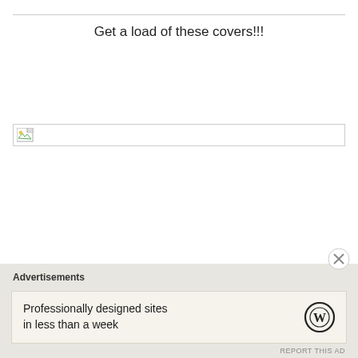Get a load of these covers!!!
[Figure (other): Broken/unloaded image placeholder showing a small thumbnail icon with a border, indicating a missing image of book covers]
Advertisements
Professionally designed sites in less than a week